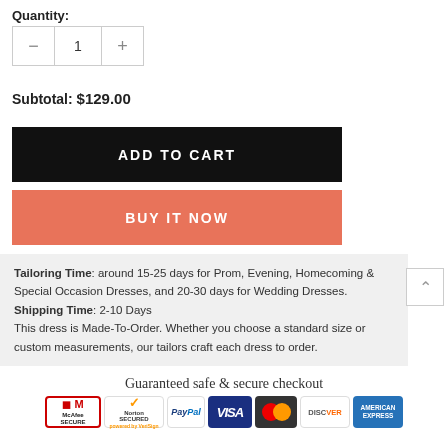Quantity:
— 1 +
Subtotal: $129.00
ADD TO CART
BUY IT NOW
Tailoring Time: around 15-25 days for Prom, Evening, Homecoming & Special Occasion Dresses, and 20-30 days for Wedding Dresses. Shipping Time: 2-10 Days This dress is Made-To-Order. Whether you choose a standard size or custom measurements, our tailors craft each dress to order.
Guaranteed safe & secure checkout
[Figure (infographic): Payment security badges: McAfee SECURE, Norton SECURED powered by VeriSign, PayPal, VISA, Mastercard, Discover, American Express]